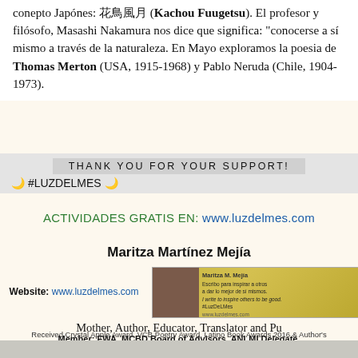conepto Japónes: 花鳥風月 (Kachou Fuugetsu). El profesor y filósofo, Masashi Nakamura nos dice que significa: "conocerse a sí mismo a través de la naturaleza. En Mayo exploramos la poesia de Thomas Merton (USA, 1915-1968) y Pablo Neruda (Chile, 1904-1973).
THANK YOU FOR YOUR SUPPORT!
🌙 #LUZDELMES 🌙
ACTIVIDADES GRATIS EN: www.luzdelmes.com
Maritza Martínez Mejía
[Figure (photo): Banner image with photo of Maritza M. Mejía and text in Spanish about inspiring others]
Mother, Author, Educator, Translator and Pu
Member: FWA, MCBD Board of Advisors, ANLMI Delegate, International Read to Me! Day Ambassador.
Website: www.luzdelmes.com
Received Crystal Apple Award, VCB Poetry Award, Latino Book Awards 2016 & Author's